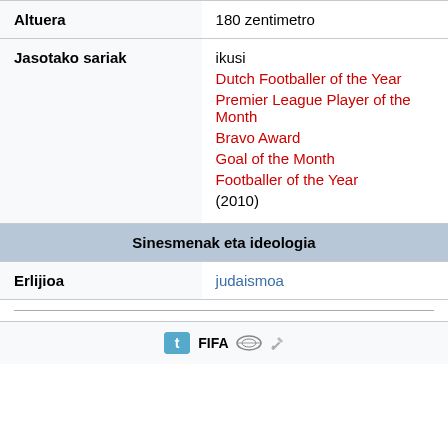| Altuera | 180 zentimetro |
| Jasotako sariak | ikusi
Dutch Footballer of the Year
Premier League Player of the Month
Bravo Award
Goal of the Month
Footballer of the Year (2010) |
| Sinesmenak eta ideologia |  |
| Erlijioa | judaismoa |
|  |  |
|  | [icons] |